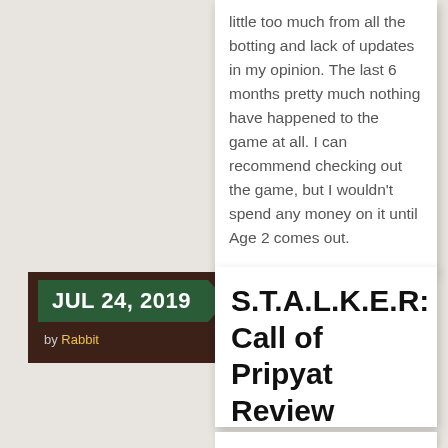little too much from all the botting and lack of updates in my opinion. The last 6 months pretty much nothing have happened to the game at all. I can recommend checking out the game, but I wouldn't spend any money on it until Age 2 comes out.
JUL 24, 2019
by Rabbit
S.T.A.L.K.E.R: Call of Pripyat Review